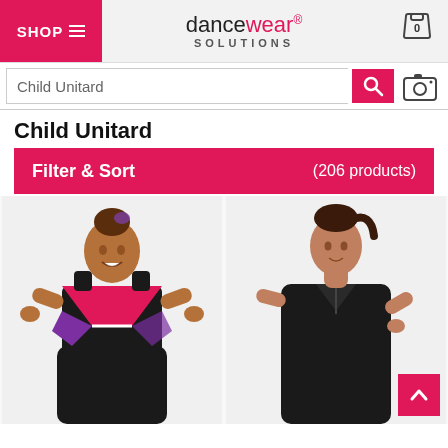SHOP ≡ | dancewear SOLUTIONS® | [cart icon] 0
Child Unitard [search input]
Child Unitard
Filter & Sort (206 products)
[Figure (photo): Two children wearing dancewear/unitards. Left: young girl in black, pink, and purple unitard smiling. Right: older girl in black sleeveless unitard posing with hand on hip.]